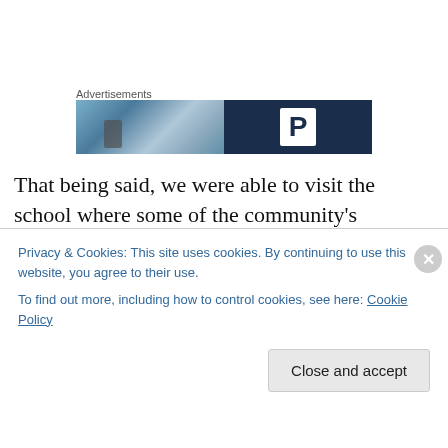Advertisements
[Figure (photo): Advertisement banner with a photo on the left (blurred outdoor/glass scene) and a dark navy right half with a white 'P' parking icon box.]
That being said, we were able to visit the school where some of the community's children attend. The school is brightly colored and filled with children learning how to speak multiple languages and some of them even
Privacy & Cookies: This site uses cookies. By continuing to use this website, you agree to their use.
To find out more, including how to control cookies, see here: Cookie Policy
Close and accept